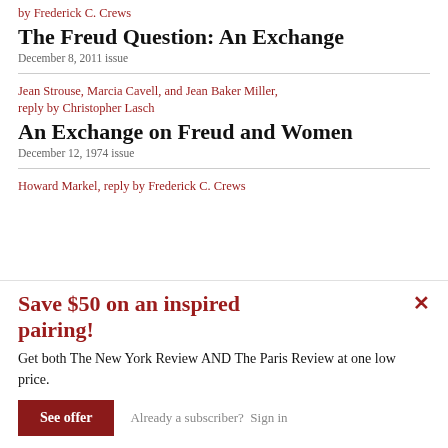by Frederick C. Crews
The Freud Question: An Exchange
December 8, 2011 issue
Jean Strouse, Marcia Cavell, and Jean Baker Miller, reply by Christopher Lasch
An Exchange on Freud and Women
December 12, 1974 issue
Howard Markel, reply by Frederick C. Crews
Save $50 on an inspired pairing!
Get both The New York Review AND The Paris Review at one low price.
See offer
Already a subscriber?  Sign in